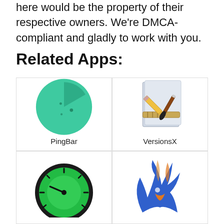here would be the property of their respective owners. We're DMCA-compliant and gladly to work with you.
Related Apps:
[Figure (illustration): PingBar app icon - a teal/green circle with a darker wedge sector, resembling a radar/ping display]
PingBar
[Figure (illustration): VersionsX app icon - a document/paper background with a pencil, brush, and ruler crossed over it]
VersionsX
[Figure (illustration): A green speedometer/gauge icon with black needle and tick marks on a dark green ring]
[Figure (illustration): A blue flame bird/mascot icon with orange beak, resembling a Thunderbird-style logo]